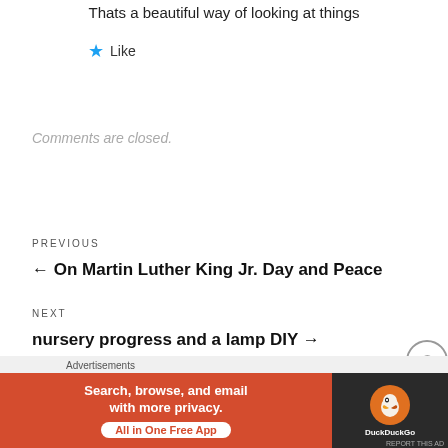Thats a beautiful way of looking at things
★ Like
Comments are closed.
PREVIOUS
← On Martin Luther King Jr. Day and Peace
NEXT
nursery progress and a lamp DIY →
Advertisements
[Figure (other): DuckDuckGo advertisement banner: Search, browse, and email with more privacy. All in One Free App]
REPORT THIS AD